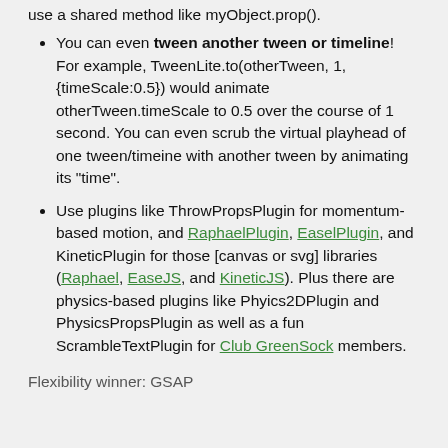You can even tween another tween or timeline! For example, TweenLite.to(otherTween, 1, {timeScale:0.5}) would animate otherTween.timeScale to 0.5 over the course of 1 second. You can even scrub the virtual playhead of one tween/timeine with another tween by animating its "time".
Use plugins like ThrowPropsPlugin for momentum-based motion, and RaphaelPlugin, EaselPlugin, and KineticPlugin for those [canvas or svg] libraries (Raphael, EaseJS, and KineticJS). Plus there are physics-based plugins like Phyics2DPlugin and PhysicsPropsPlugin as well as a fun ScrambleTextPlugin for Club GreenSock members.
Flexibility winner: GSAP